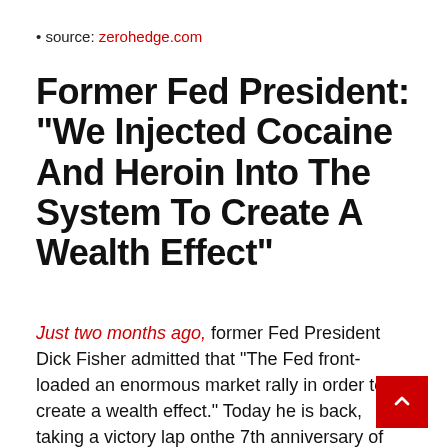• source: zerohedge.com
Former Fed President: “We Injected Cocaine And Heroin Into The System To Create A Wealth Effect”
Just two months ago, former Fed President Dick Fisher admitted that “The Fed front-loaded an enormous market rally in order to create a wealth effect.” Today he is back, taking a victory lap onthe 7th anniversary of the crisis lows by explaining, rather stunningly, to CNBC